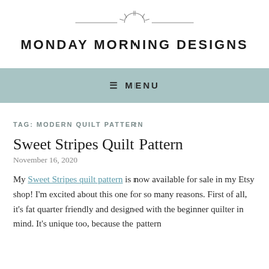MONDAY MORNING DESIGNS
[Figure (logo): Decorative sun logo with horizontal lines on either side, above the site title]
≡ MENU
TAG: MODERN QUILT PATTERN
Sweet Stripes Quilt Pattern
November 16, 2020
My Sweet Stripes quilt pattern is now available for sale in my Etsy shop! I'm excited about this one for so many reasons. First of all, it's fat quarter friendly and designed with the beginner quilter in mind. It's unique too, because the pattern